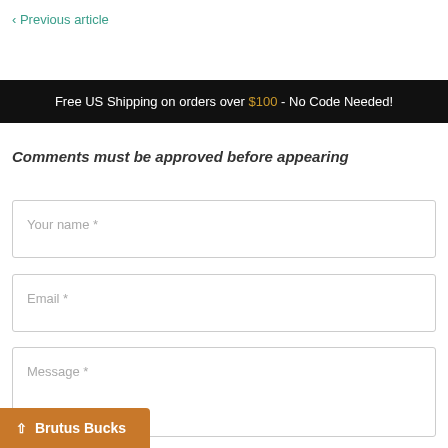< Previous article
Free US Shipping on orders over $100 - No Code Needed!
Comments must be approved before appearing
Your name *
Email *
Message *
^ Brutus Bucks